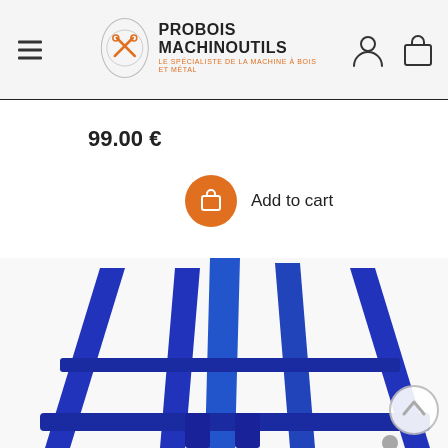PROBOIS MACHINOUTILS — LE SPÉCIALISTE DE LA MACHINE À BOIS ET MÉTAL
99.00 €
Add to cart
[Figure (photo): Close-up of a blue metal sawhorse or workshop stand with tubular steel legs, photographed from a low angle showing the frame structure.]